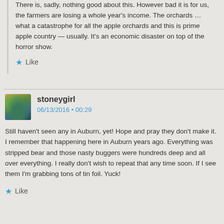There is, sadly, nothing good about this. However bad it is for us, the farmers are losing a whole year's income. The orchards ... what a catastrophe for all the apple orchards and this is prime apple country — usually. It's an economic disaster on top of the horror show.
★ Like
stoneygirl
06/13/2016 • 00:29
Still haven't seen any in Auburn, yet! Hope and pray they don't make it. I remember that happening here in Auburn years ago. Everything was stripped bear and those nasty buggers were hundreds deep and all over everything. I really don't wish to repeat that any time soon. If I see them I'm grabbing tons of tin foil. Yuck!
★ Like